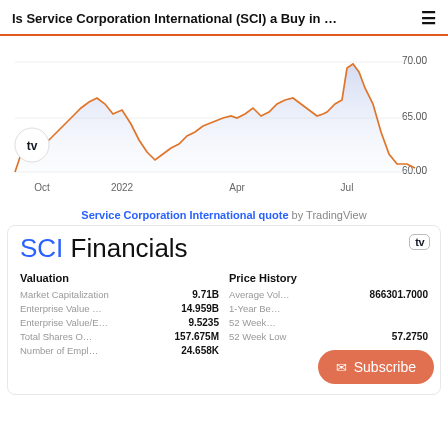Is Service Corporation International (SCI) a Buy in … ☰
[Figure (area-chart): Area chart of SCI stock price from Oct 2021 to Jul 2022, ranging approximately 60-71. Orange line with blue-tinted fill. Y-axis labels: 70.00, 65.00, 60.00. X-axis labels: Oct, 2022, Apr, Jul. TradingView logo in bottom-left.]
Service Corporation International quote by TradingView
[Figure (infographic): SCI Financials widget from TradingView showing Valuation and Price History data. Valuation: Market Capitalization 9.71B, Enterprise Value 14.959B, Enterprise Value/E... 9.5235, Total Shares O... 157.675M, Number of Empl... 24.658K. Price History: Average Vol... 866301.7000, 1-Year Be..., 52 Week (high), 52 Week Low 57.2750. Subscribe button overlay.]
| Valuation |  | Price History |  |
| --- | --- | --- | --- |
| Market Capitalization | 9.71B | Average Vol… | 866301.7000 |
| Enterprise Value … | 14.959B | 1-Year Be… |  |
| Enterprise Value/E… | 9.5235 | 52 Week… |  |
| Total Shares O… | 157.675M | 52 Week Low | 57.2750 |
| Number of Empl… | 24.658K |  |  |